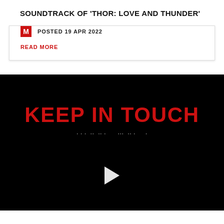SOUNDTRACK OF 'THOR: LOVE AND THUNDER'
POSTED 19 APR 2022
READ MORE
[Figure (screenshot): Black video panel with 'KEEP IN TOUCH' in large red bold text, subtitle text in white below, and a white play button triangle in the center-bottom area]